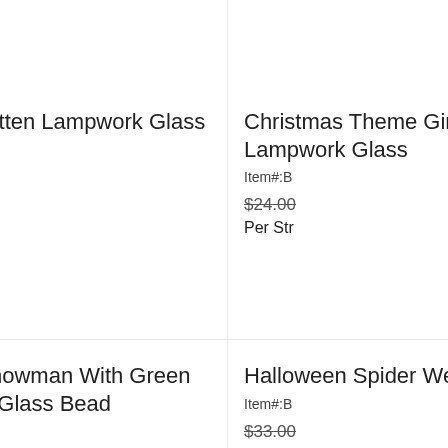Christmas Theme Mitten Lampwork Glass Bead
Item#:BXMS002
$24.00  $19.20
Per Strand (12 Beads)
Christmas Theme Gingerbread Man Lampwork Glass Bead
Item#:B...
$24.00
Per Str...
Christmas Theme Snowman With Green Earmuffs Lampwork Glass Bead
Item#:BXMS083
$24.00  $19.20
Halloween Spider Web Charm Lampwork...
Item#:B...
$33.00...